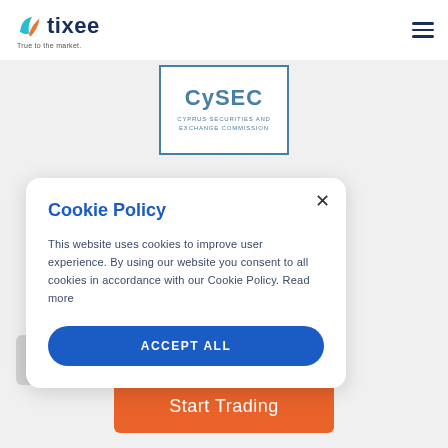[Figure (logo): Tixee logo with orange and teal leaf icon, dark blue 'tixee' text, tagline 'True to the market.']
[Figure (logo): CySEC - Cyprus Securities and Exchange Commission badge/logo in blue border]
Cookie Policy
This website uses cookies to improve user experience. By using our website you consent to all cookies in accordance with our Cookie Policy. Read more
ACCEPT ALL
Start Trading